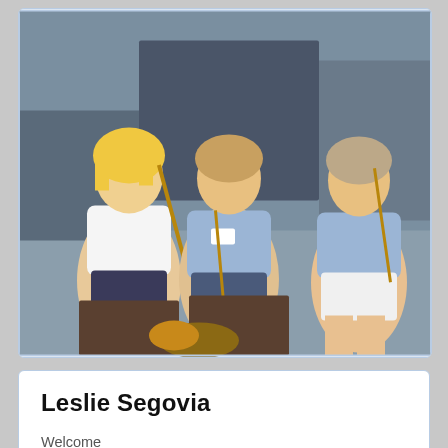[Figure (photo): Three women holding flutes at an outdoor band event. Left woman wears a white Hardrock t-shirt and shorts, center woman wears a light blue community band t-shirt, right woman wears a light blue National Community Band t-shirt and white shorts.]
Leslie Segovia
Welcome
My name is Leslie Segovia.  My husband and I have been married for 9 wonderful years and have 4 children - 1 who watches over us from above, and 3 whom we are blessed to raise and watch grow.  Our oldest is going to 1st grade, our middle child to kinder, and our youngest to pre-, all here at ACS.  It's an exciting year for our little family J  I grew up in Angleton and a member of Most Holy Trinity Catholic Church.